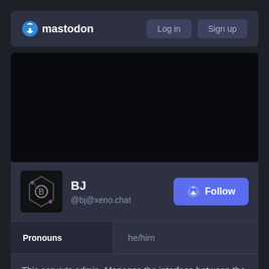[Figure (logo): Mastodon logo with navigation bar showing Log in and Sign up buttons]
[Figure (photo): Dark/black banner image area for profile header]
[Figure (illustration): Profile avatar showing BJ's icon — dark background with decorative geometric/robotic symbol]
BJ
@bj@xeno.chat
Follow
| Pronouns |  |
| --- | --- |
| Pronouns | he/him |
This server's admin. Manages the interface between the real world and all the strangeness that goes on inside. Also posts